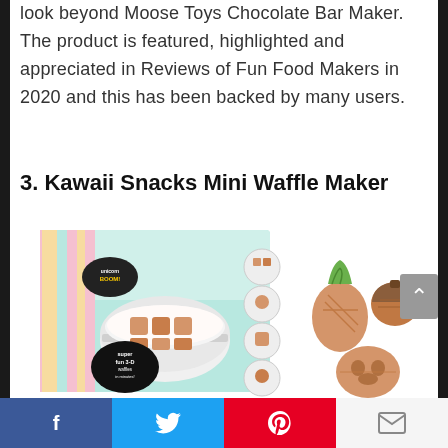look beyond Moose Toys Chocolate Bar Maker. The product is featured, highlighted and appreciated in Reviews of Fun Food Makers in 2020 and this has been backed by many users.
3. Kawaii Snacks Mini Waffle Maker
[Figure (photo): Product photo of Kawaii Snacks Mini Waffle Maker. Left side shows the colorful product box with a white waffle maker visible inside, featuring cute shaped waffle molds and text reading 'super fun 3-D waffles in minutes!'. Right side shows golden-brown waffle shapes including a pineapple, an acorn/mushroom shape, and a bear/skull shape on a white background.]
Facebook | Twitter | Pinterest | Email